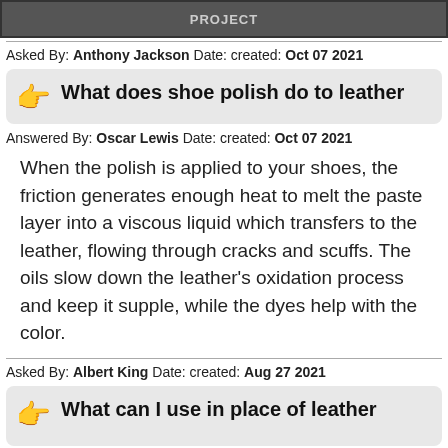[Figure (photo): Partial image at top of page, dark/brown tones, appears to be a leather or shoe-related image with text overlay 'PROJECT']
Asked By: Anthony Jackson Date: created: Oct 07 2021
What does shoe polish do to leather
Answered By: Oscar Lewis Date: created: Oct 07 2021
When the polish is applied to your shoes, the friction generates enough heat to melt the paste layer into a viscous liquid which transfers to the leather, flowing through cracks and scuffs. The oils slow down the leather's oxidation process and keep it supple, while the dyes help with the color.
Asked By: Albert King Date: created: Aug 27 2021
What can I use in place of leather